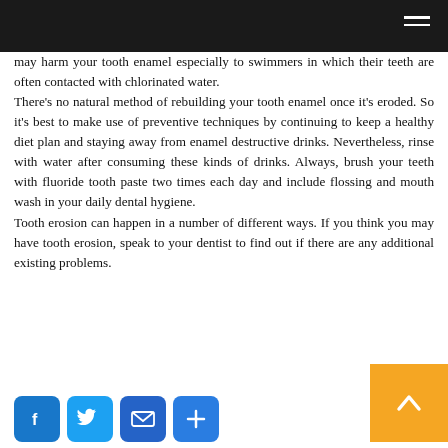may harm your tooth enamel especially to swimmers in which their teeth are often contacted with chlorinated water.
There's no natural method of rebuilding your tooth enamel once it's eroded. So it's best to make use of preventive techniques by continuing to keep a healthy diet plan and staying away from enamel destructive drinks. Nevertheless, rinse with water after consuming these kinds of drinks. Always, brush your teeth with fluoride tooth paste two times each day and include flossing and mouth wash in your daily dental hygiene.
Tooth erosion can happen in a number of different ways. If you think you may have tooth erosion, speak to your dentist to find out if there are any additional existing problems.
[Figure (other): Social sharing buttons: Facebook (blue), Twitter (light blue), Email (blue), Plus/Share (blue), and a back-to-top orange button with an upward chevron arrow.]